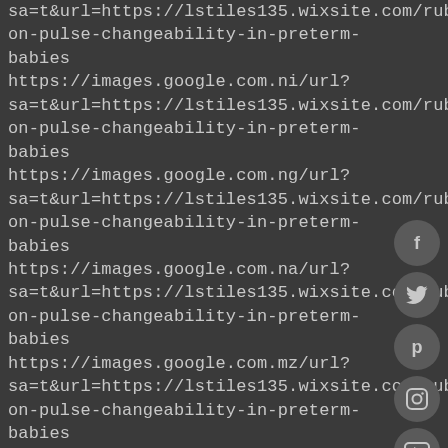sa=t&url=https://lstiles135.wixsite.com/rub1/post/rub-on-pulse-changeability-in-preterm-babies https://images.google.com.ni/url?sa=t&url=https://lstiles135.wixsite.com/rub1/post/rub-on-pulse-changeability-in-preterm-babies https://images.google.com.ng/url?sa=t&url=https://lstiles135.wixsite.com/rub1/post/rub-on-pulse-changeability-in-preterm-babies https://images.google.com.na/url?sa=t&url=https://lstiles135.wixsite.com/rub1/post/rub-on-pulse-changeability-in-preterm-babies https://images.google.com.mz/url?sa=t&url=https://lstiles135.wixsite.com/rub1/post/rub-on-pulse-changeability-in-preterm-babies https://images.google.com.my/url?sa=t&url=https://lstiles135.wixsite.com/rub1/post/rub-on-pulse-changeability-in-preterm-babies https://images.google.com.mx/url?sa=t&url=https://lstiles135.wixsite.com/rub1/post/on-pulse-changeability-in-preterm-babies
[Figure (other): Social media sharing buttons on right side: Facebook (f), Twitter (bird), Pinterest (P), Instagram (camera), YouTube (film), Google+ (G+), Email (envelope)]